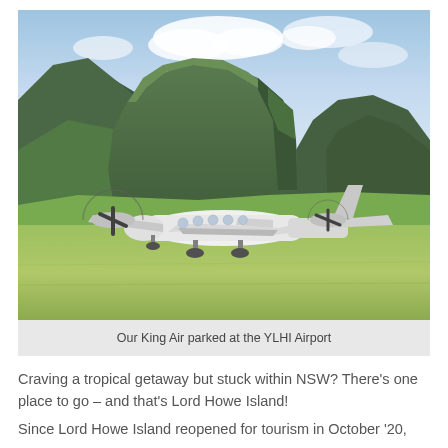[Figure (photo): A King Air twin-engine turboprop aircraft parked on a grass airstrip with a dramatic green plateau mountain in the background under a partly cloudy sky. Lush green vegetation covers the hillsides.]
Our King Air parked at the YLHI Airport
Craving a tropical getaway but stuck within NSW? There's one place to go – and that's Lord Howe Island!
Since Lord Howe Island reopened for tourism in October '20, our